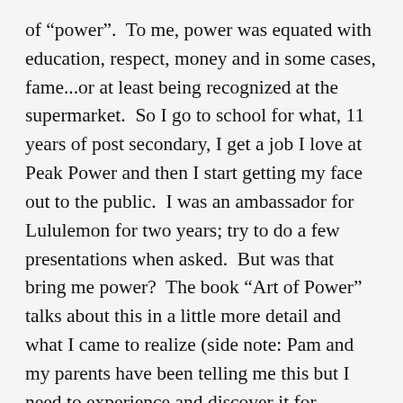of “power”.  To me, power was equated with education, respect, money and in some cases, fame...or at least being recognized at the supermarket.  So I go to school for what, 11 years of post secondary, I get a job I love at Peak Power and then I start getting my face out to the public.  I was an ambassador for Lululemon for two years; try to do a few presentations when asked.  But was that bring me power?  The book “Art of Power” talks about this in a little more detail and what I came to realize (side note: Pam and my parents have been telling me this but I need to experience and discover it for myself) that what I chased has brought me further away from my goals, and my family.  We become obsessed with work as we try to gain “power”.  We work harder which leads to raises in pay (increased power) and we gain promotions (increased power).  But at some point in the game we begin to gain worries, and we are absorbed with work.  We begin to work longer hours to gain more “power” however we become distant to our families.  We are never